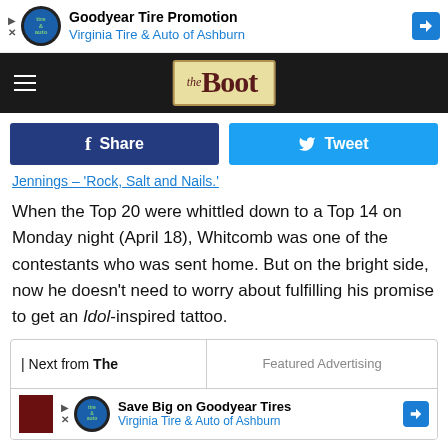[Figure (screenshot): Goodyear Tire Promotion advertisement banner — Virginia Tire & Auto of Ashburn]
[Figure (logo): The Boot website logo on dark header background with hamburger menu]
[Figure (screenshot): Facebook Share and Twitter Tweet social sharing buttons]
Jennings – 'Rock, Salt and Nails.'
When the Top 20 were whittled down to a Top 14 on Monday night (April 18), Whitcomb was one of the contestants who was sent home. But on the bright side, now he doesn't need to worry about fulfilling his promise to get an Idol-inspired tattoo.
[Figure (screenshot): Bottom widget area: 'Next from The' section alongside 'Featured Advertising' panel, with Goodyear Tires ad — Save Big on Goodyear Tires, Virginia Tire & Auto of Ashburn]